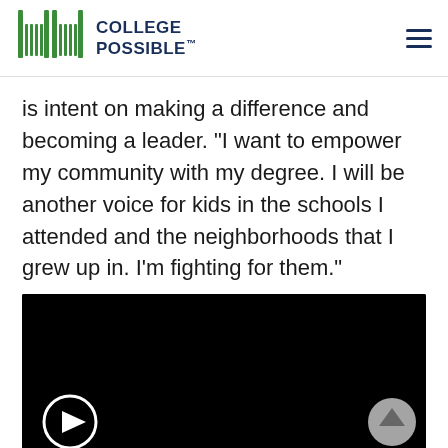COLLEGE POSSIBLE
is intent on making a difference and becoming a leader. “I want to empower my community with my degree. I will be another voice for kids in the schools I attended and the neighborhoods that I grew up in. I’m fighting for them.”
[Figure (screenshot): Black video player with white circular play button at bottom-left and a white circular up/scroll button at bottom-right]